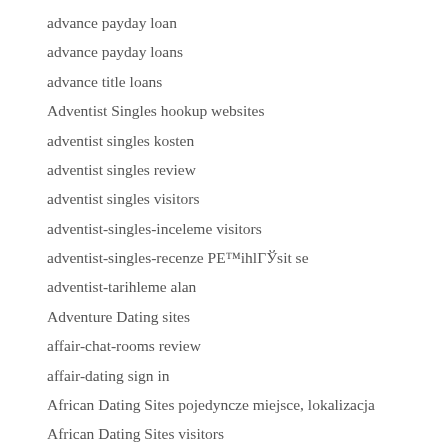advance payday loan
advance payday loans
advance title loans
Adventist Singles hookup websites
adventist singles kosten
adventist singles review
adventist singles visitors
adventist-singles-inceleme visitors
adventist-singles-recenze PЕ™ihlГЎsit se
adventist-tarihleme alan
Adventure Dating sites
affair-chat-rooms review
affair-dating sign in
African Dating Sites pojedyncze miejsce, lokalizacja
African Dating Sites visitors